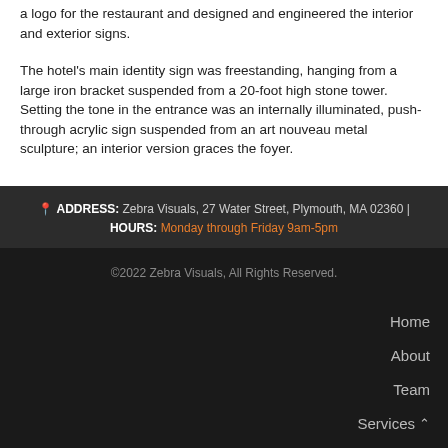a logo for the restaurant and designed and engineered the interior and exterior signs.
The hotel's main identity sign was freestanding, hanging from a large iron bracket suspended from a 20-foot high stone tower. Setting the tone in the entrance was an internally illuminated, push-through acrylic sign suspended from an art nouveau metal sculpture; an interior version graces the foyer.
📍 ADDRESS: Zebra Visuals, 27 Water Street, Plymouth, MA 02360 | HOURS: Monday through Friday 9am-5pm
©2022 Zebra Visuals, All Rights Reserved.
Home
About
Team
Services ˄